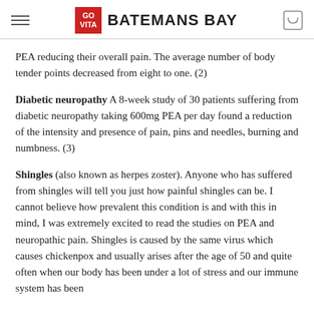GO VITA  BATEMANS BAY
PEA reducing their overall pain. The average number of body tender points decreased from eight to one. (2)
Diabetic neuropathy A 8-week study of 30 patients suffering from diabetic neuropathy taking 600mg PEA per day found a reduction of the intensity and presence of pain, pins and needles, burning and numbness. (3)
Shingles (also known as herpes zoster). Anyone who has suffered from shingles will tell you just how painful shingles can be. I cannot believe how prevalent this condition is and with this in mind, I was extremely excited to read the studies on PEA and neuropathic pain. Shingles is caused by the same virus which causes chickenpox and usually arises after the age of 50 and quite often when our body has been under a lot of stress and our immune system has been